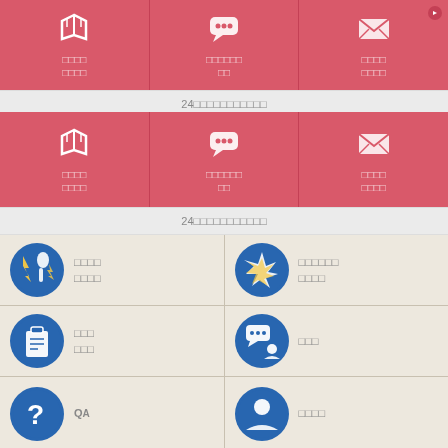[Figure (infographic): Pink contact/service icons row with chat bubble, mail icons and Japanese text labels, 24-hour service text bar repeated twice]
24時間サポート対応
[Figure (infographic): Second pink row with same icons]
24時間サポート対応
[Figure (infographic): Grid of service cards with blue circular icons: accident/injury icon with Japanese text, lightning/accident icon with Japanese text, clipboard icon with Japanese text, chat person icon with Japanese text, question mark icon with Q&A text, person icon with Japanese text]